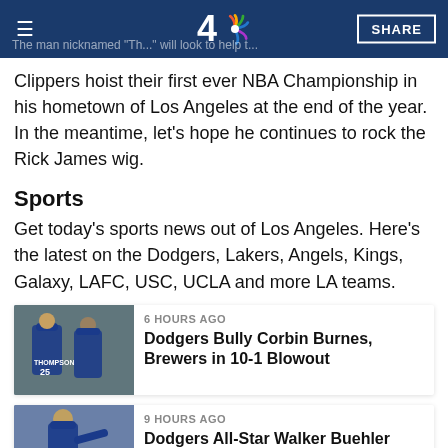NBC4 | SHARE
The man nicknamed "The..." will look to help the Clippers hoist their first ever NBA Championship in his hometown of Los Angeles at the end of the year. In the meantime, let's hope he continues to rock the Rick James wig.
Sports
Get today's sports news out of Los Angeles. Here's the latest on the Dodgers, Lakers, Angels, Kings, Galaxy, LAFC, USC, UCLA and more LA teams.
[Figure (photo): Photo of two Dodgers players on the baseball field, one wearing jersey #25 THOMPSON]
6 HOURS AGO
Dodgers Bully Corbin Burnes, Brewers in 10-1 Blowout
[Figure (photo): Photo of Dodgers pitcher Walker Buehler on the mound]
9 HOURS AGO
Dodgers All-Star Walker Buehler Undergoes 2nd Tommy John Surgery